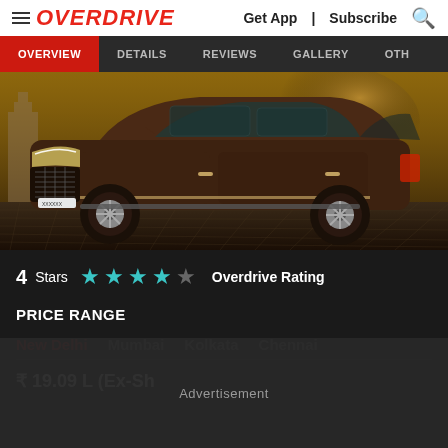OVERDRIVE | Get App | Subscribe
OVERVIEW | DETAILS | REVIEWS | GALLERY | OTH
[Figure (photo): Side profile photo of a brown/dark chocolate Hyundai Creta SUV parked on a cobblestone surface with a monument in the background.]
4 Stars ★★★★☆ Overdrive Rating
PRICE RANGE
New Delhi   Mumbai   Kolkata   Chennai
₹ 19.09 L (Ex-Showroom)
Advertisement